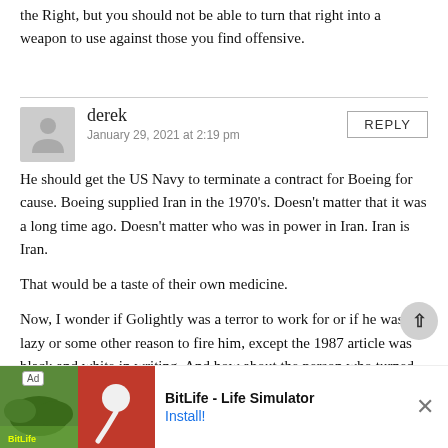the Right, but you should not be able to turn that right into a weapon to use against those you find offensive.
derek
January 29, 2021 at 2:19 pm
He should get the US Navy to terminate a contract for Boeing for cause. Boeing supplied Iran in the 1970's. Doesn't matter that it was a long time ago. Doesn't matter who was in power in Iran. Iran is Iran.

That would be a taste of their own medicine.

Now, I wonder if Golightly was a terror to work for or if he was lazy or some other reason to fire him, except the 1987 article was black and white in writing. And how about the person who turned him in? A lazy person trying to fire the supervisor so that laziness can continue?

The photo is odd. Is that the Greek army?
[Figure (infographic): BitLife - Life Simulator advertisement banner with app icon images and Install button]